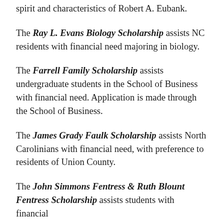spirit and characteristics of Robert A. Eubank.
The Ray L. Evans Biology Scholarship assists NC residents with financial need majoring in biology.
The Farrell Family Scholarship assists undergraduate students in the School of Business with financial need. Application is made through the School of Business.
The James Grady Faulk Scholarship assists North Carolinians with financial need, with preference to residents of Union County.
The John Simmons Fentress & Ruth Blount Fentress Scholarship assists students with financial